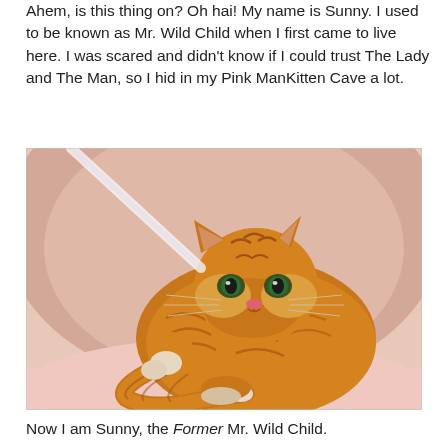Ahem, is this thing on? Oh hai! My name is Sunny. I used to be known as Mr. Wild Child when I first came to live here. I was scared and didn't know if I could trust The Lady and The Man, so I hid in my Pink ManKitten Cave a lot.
[Figure (photo): An orange tabby cat curled up inside a pink soft cave/bed, looking directly at the camera with a calm expression. The cat has striped orange and tan fur, green eyes, and a pink nose. Its paw is raised slightly. The background shows the interior of the pink fabric cave.]
Now I am Sunny, the Former Mr. Wild Child.